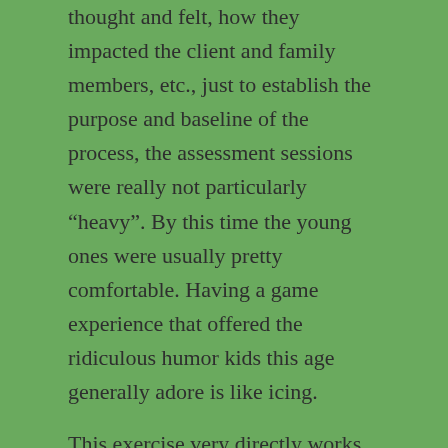thought and felt, how they impacted the client and family members, etc., just to establish the purpose and baseline of the process, the assessment sessions were really not particularly “heavy”. By this time the young ones were usually pretty comfortable. Having a game experience that offered the ridiculous humor kids this age generally adore is like icing.
This exercise very directly works to expand other-directedness.
The Talking, Feeling, Doing Game
This is a board game designed by Richard Gardner, a well-known child psychiatrist in the 70’s and 80’s. Each participant moves their along a track with a roll of the dice. Most of the squares along the way are marked